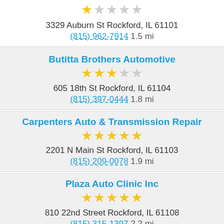3329 Auburn St Rockford, IL 61101
(815) 962-7914 1.5 mi
Butitta Brothers Automotive
605 18th St Rockford, IL 61104
(815) 397-0444 1.8 mi
Carpenters Auto & Transmission Repair
2201 N Main St Rockford, IL 61103
(815) 209-0078 1.9 mi
Plaza Auto Clinic Inc
810 22nd Street Rockford, IL 61108
(815) 315-1397 2.2 mi
Wick Automotive
2201 Harrison Ave Rockford, IL 61104